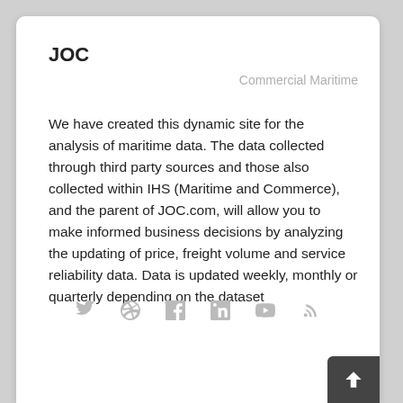JOC
Commercial Maritime
We have created this dynamic site for the analysis of maritime data. The data collected through third party sources and those also collected within IHS (Maritime and Commerce), and the parent of JOC.com, will allow you to make informed business decisions by analyzing the updating of price, freight volume and service reliability data. Data is updated weekly, monthly or quarterly depending on the dataset
[Figure (other): Row of social media icons: Twitter, Dribbble, Facebook, LinkedIn, YouTube, RSS]